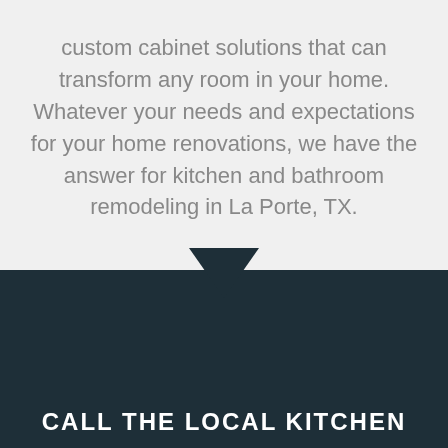custom cabinet solutions that can transform any room in your home. Whatever your needs and expectations for your home renovations, we have the answer for kitchen and bathroom remodeling in La Porte, TX.
CALL THE LOCAL KITCHEN